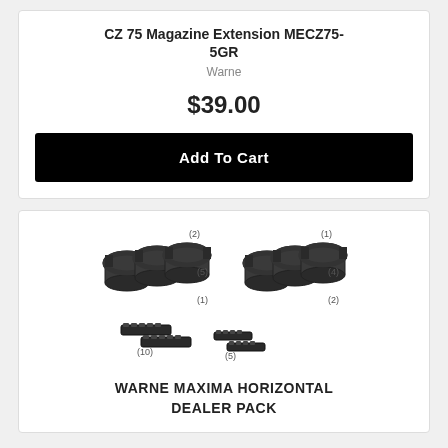CZ 75 Magazine Extension MECZ75-5GR
Warne
$39.00
Add To Cart
[Figure (photo): Product image of Warne Maxima Horizontal Dealer Pack showing multiple scope rings with quantity labels (2), (5), (1), (1), (4), (2) and rail sections with labels (10), (5)]
WARNE MAXIMA HORIZONTAL DEALER PACK